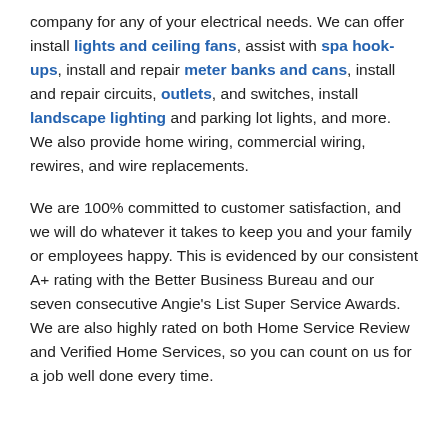company for any of your electrical needs. We can offer install lights and ceiling fans, assist with spa hook-ups, install and repair meter banks and cans, install and repair circuits, outlets, and switches, install landscape lighting and parking lot lights, and more. We also provide home wiring, commercial wiring, rewires, and wire replacements.
We are 100% committed to customer satisfaction, and we will do whatever it takes to keep you and your family or employees happy. This is evidenced by our consistent A+ rating with the Better Business Bureau and our seven consecutive Angie's List Super Service Awards. We are also highly rated on both Home Service Review and Verified Home Services, so you can count on us for a job well done every time.